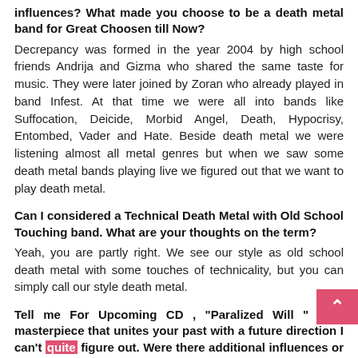influences? What made you choose to be a death metal band for Great Choosen till Now?
Decrepancy was formed in the year 2004 by high school friends Andrija and Gizma who shared the same taste for music. They were later joined by Zoran who already played in band Infest. At that time we were all into bands like Suffocation, Deicide, Morbid Angel, Death, Hypocrisy, Entombed, Vader and Hate. Beside death metal we were listening almost all metal genres but when we saw some death metal bands playing live we figured out that we want to play death metal.
Can I considered a Technical Death Metal with Old School Touching band. What are your thoughts on the term?
Yeah, you are partly right. We see our style as old school death metal with some touches of technicality, but you can simply call our style death metal.
Tell me For Upcoming CD , "Paralized Will " is a masterpiece that unites your past with a future direction I can't quite figure out. Were there additional influences or developments to your style? Where do you go from here?